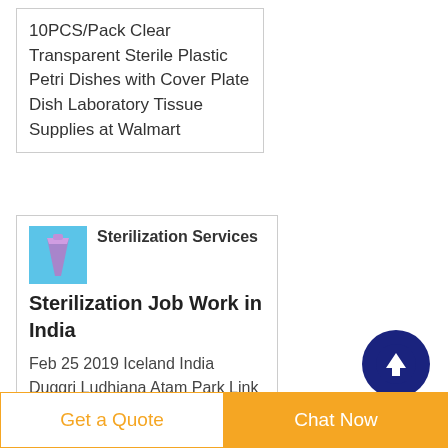10PCS/Pack Clear Transparent Sterile Plastic Petri Dishes with Cover Plate Dish Laboratory Tissue Supplies at Walmart
[Figure (photo): Small image of a purple/pink conical lab tube on a blue background]
Sterilization Services Sterilization Job Work in India
Feb 25 2019  Iceland India Duggri Ludhiana Atam Park Link Road Duggri Ludhiana141002 Dist Ludhiana Punjab Ethylene
[Figure (illustration): Dark navy blue circular scroll-to-top button with white upward arrow]
Get a Quote
Chat Now